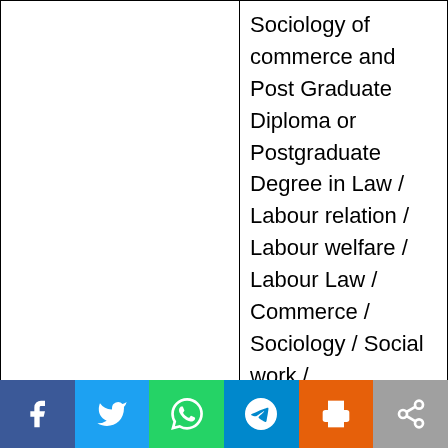|  | Sociology of commerce and Post Graduate Diploma or Postgraduate Degree in Law / Labour relation / Labour welfare / Labour Law / Commerce / Sociology / Social work / ... |